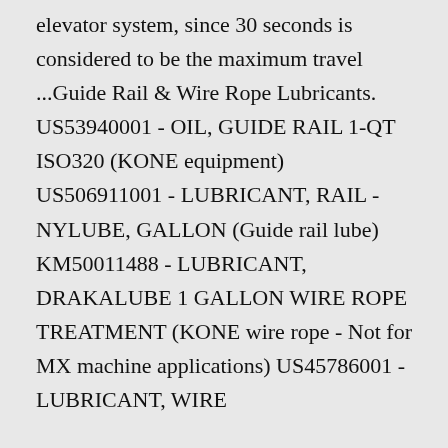elevator system, since 30 seconds is considered to be the maximum travel ...Guide Rail & Wire Rope Lubricants. US53940001 - OIL, GUIDE RAIL 1-QT ISO320 (KONE equipment) US506911001 - LUBRICANT, RAIL - NYLUBE, GALLON (Guide rail lube) KM50011488 - LUBRICANT, DRAKALUBE 1 GALLON WIRE ROPE TREATMENT (KONE wire rope - Not for MX machine applications) US45786001 - LUBRICANT, WIRE